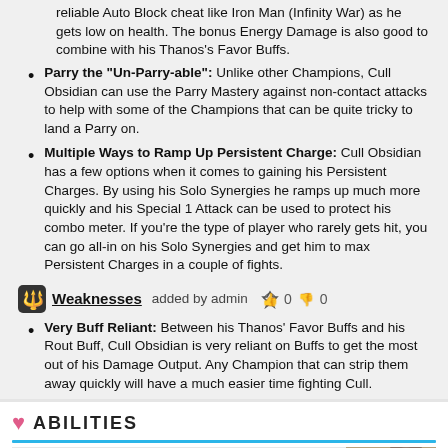Parry the "Un-Parry-able": Unlike other Champions, Cull Obsidian can use the Parry Mastery against non-contact attacks to help with some of the Champions that can be quite tricky to land a Parry on.
Multiple Ways to Ramp Up Persistent Charge: Cull Obsidian has a few options when it comes to gaining his Persistent Charges. By using his Solo Synergies he ramps up much more quickly and his Special 1 Attack can be used to protect his combo meter. If you're the type of player who rarely gets hit, you can go all-in on his Solo Synergies and get him to max Persistent Charges in a couple of fights.
Weaknesses added by admin 0 0
Very Buff Reliant: Between his Thanos' Favor Buffs and his Rout Buff, Cull Obsidian is very reliant on Buffs to get the most out of his Damage Output. Any Champion that can strip them away quickly will have a much easier time fighting Cull.
ABILITIES